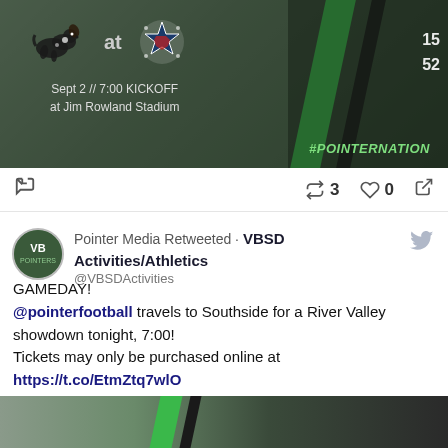[Figure (screenshot): Sports event promotional graphic for a football game. Shows a dog mascot logo and star logo with text: Sept 2 // 7:00 KICKOFF at Jim Rowland Stadium. Green diagonal stripe and players in green/white uniforms on right side. #POINTERNATION hashtag in green.]
3  0
Pointer Media Retweeted · VBSD Activities/Athletics @VBSDActivities
GAMEDAY!
@pointerfootball travels to Southside for a River Valley showdown tonight, 7:00!
Tickets may only be purchased online at https://t.co/EtmZtq7wlO
Catch @MarkHHurstDDS & @JoshNichols21 on the @PointerMediaVB livestream!
#PointerNation https://t.co/nlQccbQNXR
[Figure (screenshot): Bottom portion of another sports promotional image with green diagonal stripe visible.]